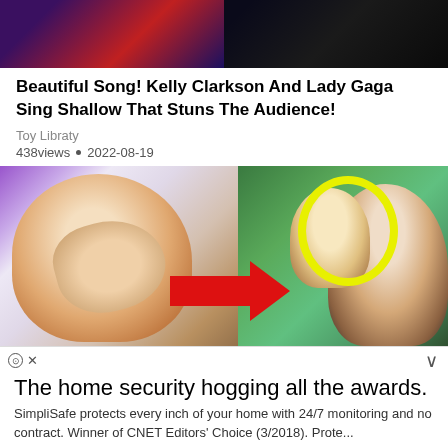[Figure (photo): Top portion of a performance video thumbnail showing two performers on stage, split image]
Beautiful Song! Kelly Clarkson And Lady Gaga Sing Shallow That Stuns The Audience!
Toy Libraty
438views • 2022-08-19
[Figure (photo): Composite image: woman (Kelly Clarkson) with hand over face crying on left, toddler boy with yellow circle highlight and red arrow pointing to him in center-right, man in suit on far right]
The home security hogging all the awards.
SimpliSafe protects every inch of your home with 24/7 monitoring and no contract. Winner of CNET Editors' Choice (3/2018). Prote...
continue